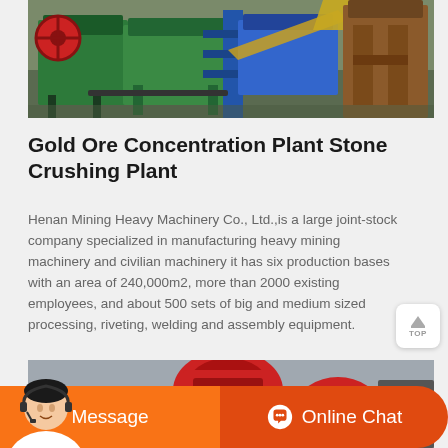[Figure (photo): Mining and crushing machinery equipment including jaw crusher and conveyor systems in industrial outdoor setting]
Gold Ore Concentration Plant Stone Crushing Plant
Henan Mining Heavy Machinery Co., Ltd.,is a large joint-stock company specialized in manufacturing heavy mining machinery and civilian machinery it has six production bases with an area of 240,000m2, more than 2000 existing employees, and about 500 sets of big and medium sized processing, riveting, welding and assembly equipment.
[Figure (photo): Industrial machinery parts in red color, outdoor industrial site]
Message
Online Chat